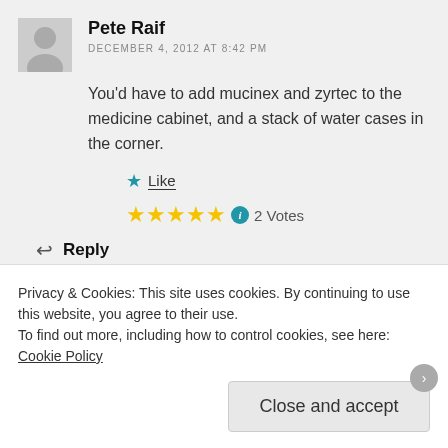Pete Raif
DECEMBER 4, 2012 AT 8:42 PM
You'd have to add mucinex and zyrtec to the medicine cabinet, and a stack of water cases in the corner.
★ Like
★★★★★ ℹ 2 Votes
↩ Reply
Privacy & Cookies: This site uses cookies. By continuing to use this website, you agree to their use.
To find out more, including how to control cookies, see here: Cookie Policy
Close and accept